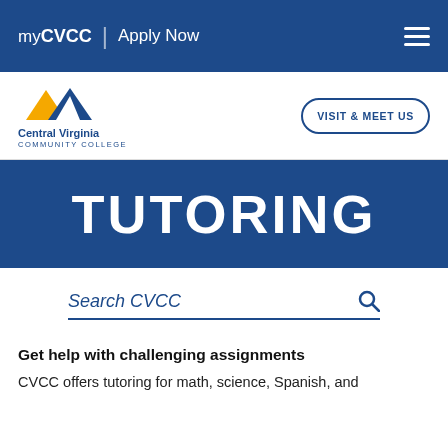myCVCC | Apply Now
[Figure (logo): Central Virginia Community College logo with mountain peaks in blue and yellow]
VISIT & MEET US
TUTORING
Search CVCC
Get help with challenging assignments
CVCC offers tutoring for math, science, Spanish, and